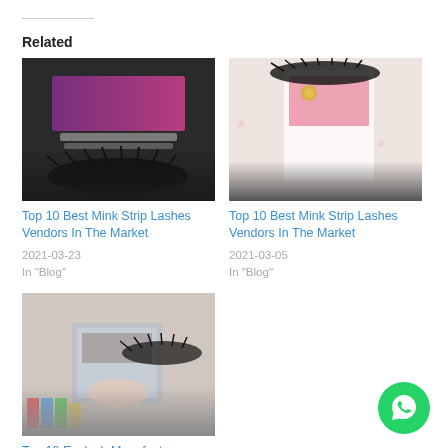Related
[Figure (photo): Photo of mink strip lashes in a black case with pink label]
Top 10 Best Mink Strip Lashes Vendors In The Market
2021-03-23
In "Blog"
[Figure (photo): Photo of mink strip lashes in a pink packaging box]
Top 10 Best Mink Strip Lashes Vendors In The Market
2021-03-05
In "Blog"
[Figure (photo): Photo of eyelash products in silver packaging]
Top 10 Eyelash Manufacturers Factory Suppliers Vendors with Low MOQ From China To USA